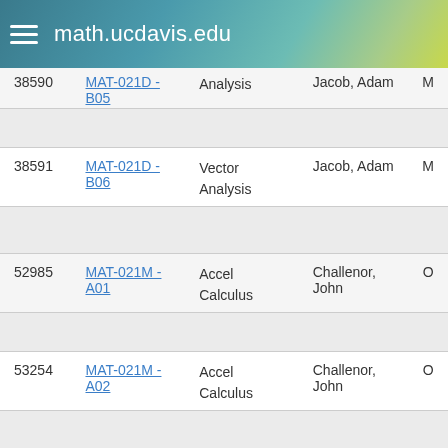math.ucdavis.edu
| CRN | Section | Course Name | Instructor | Mode |
| --- | --- | --- | --- | --- |
| 38590 | MAT-021D - B05 | Vector Analysis | Jacob, Adam | M |
| 38591 | MAT-021D - B06 | Vector Analysis | Jacob, Adam | M |
| 52985 | MAT-021M - A01 | Accel Calculus | Challenor, John | O |
| 53254 | MAT-021M - A02 | Accel Calculus | Challenor, John | O |